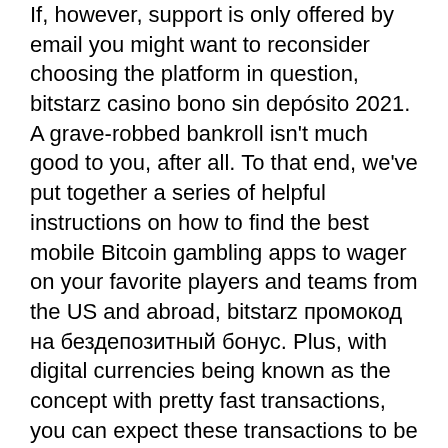If, however, support is only offered by email you might want to reconsider choosing the platform in question, bitstarz casino bono sin depósito 2021. A grave-robbed bankroll isn't much good to you, after all. To that end, we've put together a series of helpful instructions on how to find the best mobile Bitcoin gambling apps to wager on your favorite players and teams from the US and abroad, bitstarz промокод на бездепозитный бонус. Plus, with digital currencies being known as the concept with pretty fast transactions, you can expect these transactions to be completely under an hour, bitstarz casino affiliates. Furthermore, every player has an opportunity to remain completely anonymous during this process. Its is safe and reliable, with a fair algorithm for masses, promo code bitstarz 2021. Its giving gambling sites to create your own custom gambling platform with handpicked provably-fair games, fully optimized for